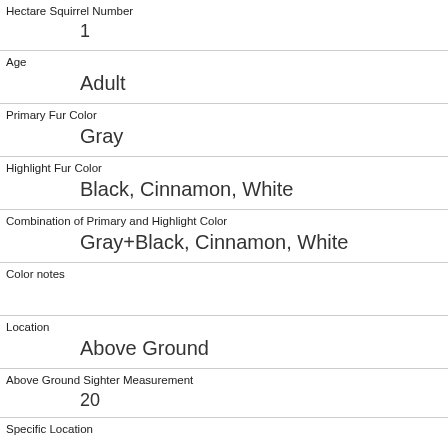| Hectare Squirrel Number | 1 |
| Age | Adult |
| Primary Fur Color | Gray |
| Highlight Fur Color | Black, Cinnamon, White |
| Combination of Primary and Highlight Color | Gray+Black, Cinnamon, White |
| Color notes |  |
| Location | Above Ground |
| Above Ground Sighter Measurement | 20 |
| Specific Location |  |
| Running | 1 |
| Chasing |  |